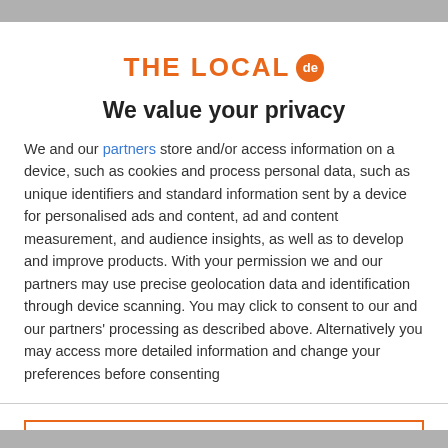[Figure (logo): THE LOCAL de logo in orange text with a circular badge containing 'de']
We value your privacy
We and our partners store and/or access information on a device, such as cookies and process personal data, such as unique identifiers and standard information sent by a device for personalised ads and content, ad and content measurement, and audience insights, as well as to develop and improve products. With your permission we and our partners may use precise geolocation data and identification through device scanning. You may click to consent to our and our partners' processing as described above. Alternatively you may access more detailed information and change your preferences before consenting
ACCEPT
MORE OPTIONS